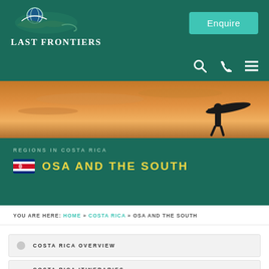Last Frontiers — Enquire
[Figure (photo): Sunset or sunrise sky in orange tones with a silhouette of a person carrying a surfboard, hero banner image]
OSA AND THE SOUTH
REGIONS IN COSTA RICA
YOU ARE HERE: HOME » COSTA RICA » OSA AND THE SOUTH
COSTA RICA OVERVIEW
COSTA RICA ITINERARIES